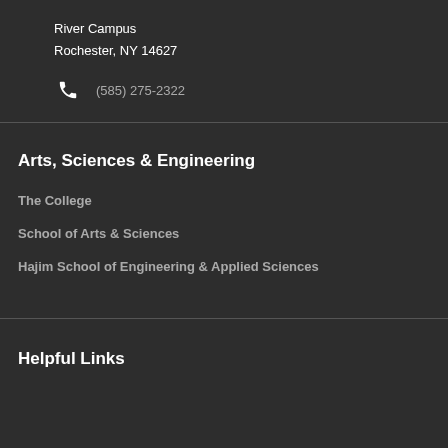River Campus
Rochester, NY 14627
(585) 275-2322
Arts, Sciences & Engineering
The College
School of Arts & Sciences
Hajim School of Engineering & Applied Sciences
Helpful Links